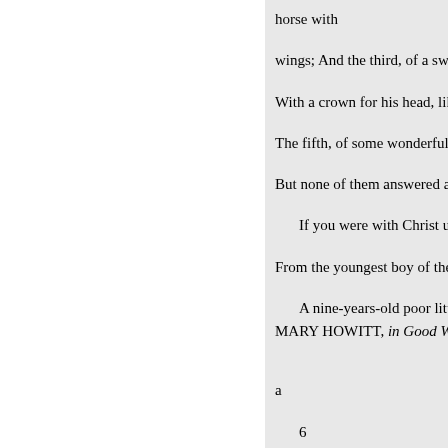horse with
wings; And the third, of a sword
With a crown for his head, like a
The fifth, of some wonderful bir
But none of them answered a wo
    If you were with Christ up in h
From the youngest boy of the sev
    A nine-years-old poor little elf
MARY HOWITT, in Good Word
a
    6
has kicked against a stone and hu
travel; no stones in the way, no th
who laugh, and sing, and dance,
glad enough of your company
    * But,' said Iva, 'will it lead me
    O yes,' said the stranger, "it wi
soon as they wish.'